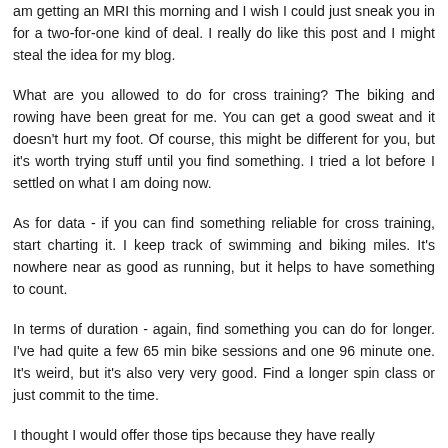am getting an MRI this morning and I wish I could just sneak you in for a two-for-one kind of deal. I really do like this post and I might steal the idea for my blog.
What are you allowed to do for cross training? The biking and rowing have been great for me. You can get a good sweat and it doesn't hurt my foot. Of course, this might be different for you, but it's worth trying stuff until you find something. I tried a lot before I settled on what I am doing now.
As for data - if you can find something reliable for cross training, start charting it. I keep track of swimming and biking miles. It's nowhere near as good as running, but it helps to have something to count.
In terms of duration - again, find something you can do for longer. I've had quite a few 65 min bike sessions and one 96 minute one. It's weird, but it's also very very good. Find a longer spin class or just commit to the time.
I thought I would offer those tips because they have really